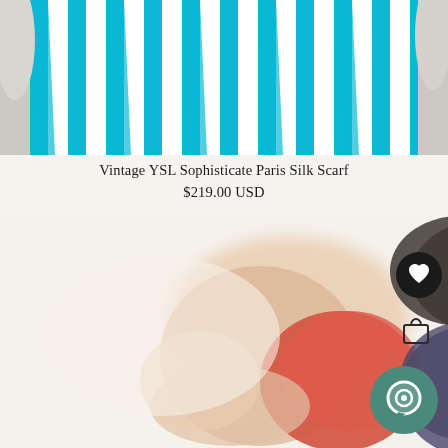[Figure (photo): A blue and white vertical striped fabric/scarf hanging against a light gray/white background]
Vintage YSL Sophisticate Paris Silk Scarf
$219.00 USD
[Figure (photo): A blurred photo of a person holding or wearing a colorful item with red and dark purple/navy colors]
[Figure (other): Heart/like button icon - black circle with white heart]
[Figure (other): Shopping bag icon in dark outline]
[Figure (other): Chat/messaging button - teal/green circle with white chat bubble icon]